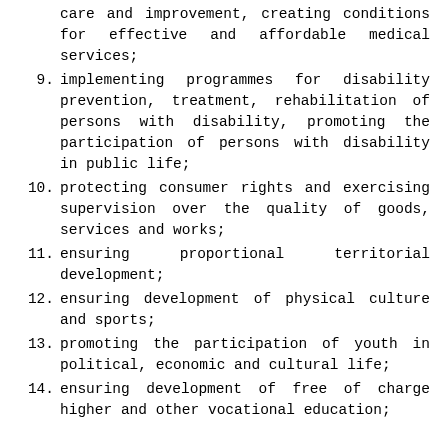care and improvement, creating conditions for effective and affordable medical services;
9. implementing programmes for disability prevention, treatment, rehabilitation of persons with disability, promoting the participation of persons with disability in public life;
10. protecting consumer rights and exercising supervision over the quality of goods, services and works;
11. ensuring proportional territorial development;
12. ensuring development of physical culture and sports;
13. promoting the participation of youth in political, economic and cultural life;
14. ensuring development of free of charge higher and other vocational education;